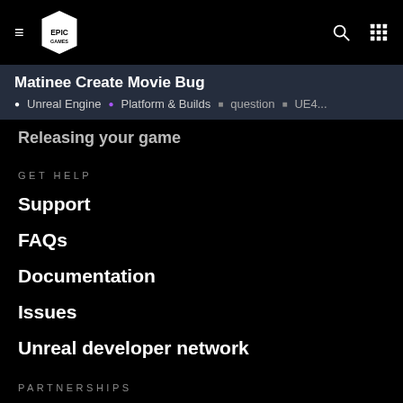Matinee Create Movie Bug — Unreal Engine • Platform & Builds • question • UE4...
Releasing your game
GET HELP
Support
FAQs
Documentation
Issues
Unreal developer network
PARTNERSHIPS
Nvidia Edge